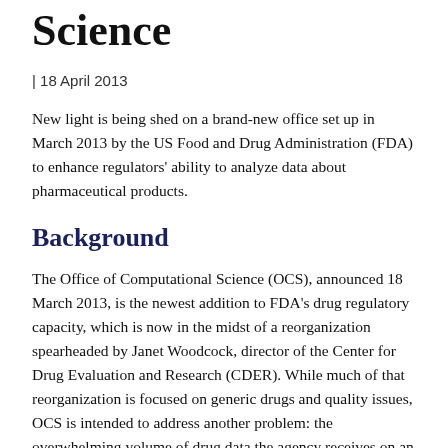Science
| 18 April 2013
New light is being shed on a brand-new office set up in March 2013 by the US Food and Drug Administration (FDA) to enhance regulators' ability to analyze data about pharmaceutical products.
Background
The Office of Computational Science (OCS), announced 18 March 2013, is the newest addition to FDA's drug regulatory capacity, which is now in the midst of a reorganization spearheaded by Janet Woodcock, director of the Center for Drug Evaluation and Research (CDER). While much of that reorganization is focused on generic drugs and quality issues, OCS is intended to address another problem: the overwhelming volume of drug data the agency receives on an